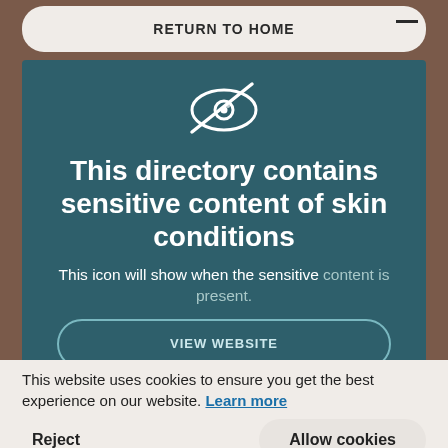RETURN TO HOME
[Figure (illustration): Eye icon with a diagonal line through it (hidden/sensitive content icon), white outline on teal background]
This directory contains sensitive content of skin conditions
This icon will show when the sensitive content is present.
This website uses cookies to ensure you get the best experience on our website. Learn more
Reject
Allow cookies
Keep up to date with the latest research about vitiligo and all